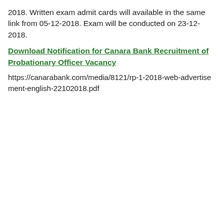2018. Written exam admit cards will available in the same link from 05-12-2018. Exam will be conducted on 23-12-2018.
Download Notification for Canara Bank Recruitment of Probationary Officer Vacancy
https://canarabank.com/media/8121/rp-1-2018-web-advertisement-english-22102018.pdf